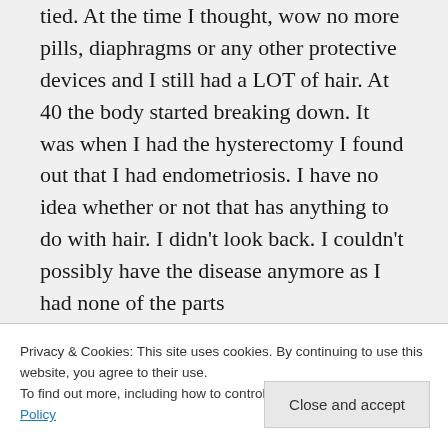tied. At the time I thought, wow no more pills, diaphragms or any other protective devices and I still had a LOT of hair. At 40 the body started breaking down. It was when I had the hysterectomy I found out that I had endometriosis. I have no idea whether or not that has anything to do with hair. I didn't look back. I couldn't possibly have the disease anymore as I had none of the parts
Privacy & Cookies: This site uses cookies. By continuing to use this website, you agree to their use.
To find out more, including how to control cookies, see here: Cookie Policy
Close and accept
Liked by 2 people